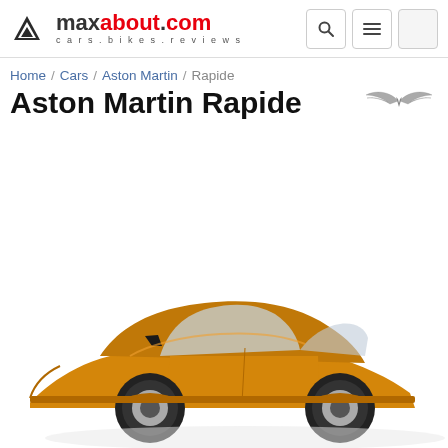maxabout.com cars.bikes.reviews
Home / Cars / Aston Martin / Rapide
Aston Martin Rapide
[Figure (photo): Aston Martin Rapide car in orange/gold color, side profile view, partially cropped at bottom of page]